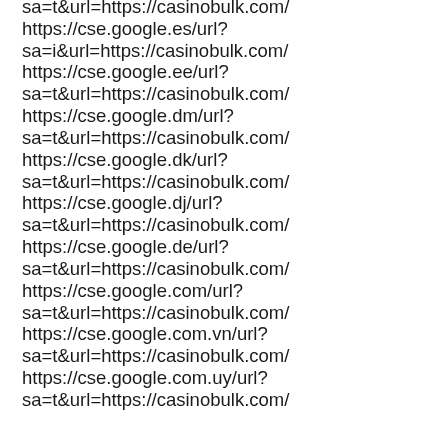sa=t&url=https://casinobulk.com/
https://cse.google.es/url?sa=i&url=https://casinobulk.com/
https://cse.google.ee/url?sa=t&url=https://casinobulk.com/
https://cse.google.dm/url?sa=t&url=https://casinobulk.com/
https://cse.google.dk/url?sa=t&url=https://casinobulk.com/
https://cse.google.dj/url?sa=t&url=https://casinobulk.com/
https://cse.google.de/url?sa=t&url=https://casinobulk.com/
https://cse.google.com/url?sa=t&url=https://casinobulk.com/
https://cse.google.com.vn/url?sa=t&url=https://casinobulk.com/
https://cse.google.com.uy/url?sa=t&url=https://casinobulk.com/